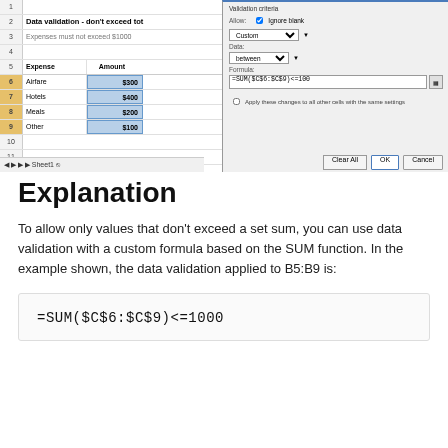[Figure (screenshot): Screenshot of Microsoft Excel spreadsheet with data validation dialog. The spreadsheet shows a table with Expense and Amount columns (Airfare $300, Hotels $400, Meals $200, Other $100) with title 'Data validation - don't exceed tot...' and subtitle 'Expenses must not exceed $1000'. The dialog box shows Validation criteria with Allow: Custom, Formula: =SUM($C$6:$C$9)<=100, and buttons Clear All, OK, Cancel.]
Explanation
To allow only values that don't exceed a set sum, you can use data validation with a custom formula based on the SUM function. In the example shown, the data validation applied to B5:B9 is: